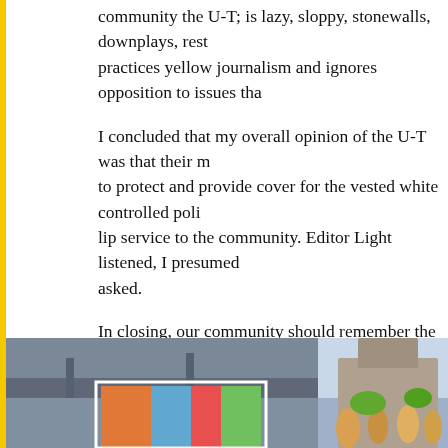community the U-T; is lazy, sloppy, stonewalls, downplays, res... practices yellow journalism and ignores opposition to issues tha...
I concluded that my overall opinion of the U-T was that their m... to protect and provide cover for the vested white controlled poli... lip service to the community. Editor Light listened, I presumed ... asked.
In closing, our community should remember the old saying,
“Freedom of the press; belongs to those who own the pre…
Share this:
[Figure (photo): Photo of colorful mural under a bridge or overpass]
[Figure (photo): Photo of people at an outdoor event or parade]